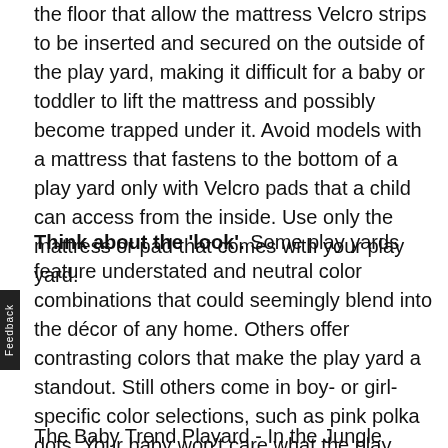the floor that allow the mattress Velcro strips to be inserted and secured on the outside of the play yard, making it difficult for a baby or toddler to lift the mattress and possibly become trapped under it. Avoid models with a mattress that fastens to the bottom of a play yard only with Velcro pads that a child can access from the inside. Use only the mattress or pad that comes with your play yard.
Think about the 'look'. Some play yards feature understated and neutral color combinations that could seemingly blend into the décor of any home. Others offer contrasting colors that make the play yard a standout. Still others come in boy- or girl-specific color selections, such as pink polka dots. Your baby won't care what the play yard looks like, but you might, so decide which way you want to go: neutral, high contrast, or with fabrics that signify "baby zone."
The Baby Trend Playard - In the Jungle (about $77), for